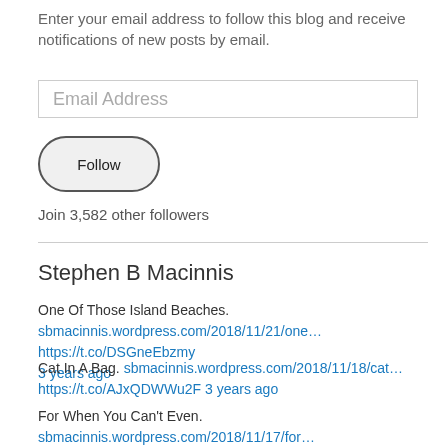Enter your email address to follow this blog and receive notifications of new posts by email.
[Figure (other): Email Address input field (text box placeholder)]
[Figure (other): Follow button (rounded pill-shaped button)]
Join 3,582 other followers
Stephen B Macinnis
One Of Those Island Beaches. sbmacinnis.wordpress.com/2018/11/21/one… https://t.co/DSGneEbzmy 3 years ago
Cat In A Bag. sbmacinnis.wordpress.com/2018/11/18/cat… https://t.co/AJxQDWWu2F 3 years ago
For When You Can't Even. sbmacinnis.wordpress.com/2018/11/17/for… https://t.co/c2yKblkU0V 3 years ago